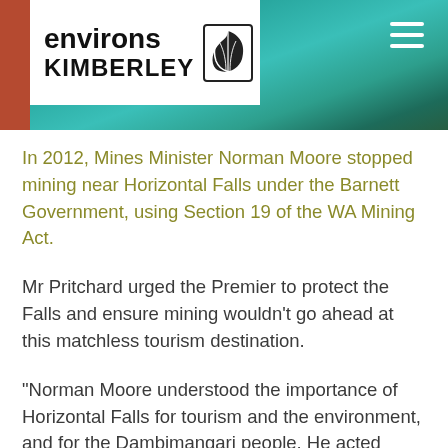[Figure (photo): Aerial photograph of teal ocean water with shoreline and vegetation, used as hero banner with Environs Kimberley logo overlay and rust-colored header bar]
In 2012, Mines Minister Norman Moore stopped mining near Horizontal Falls under the Barnett Government, using Section 19 of the WA Mining Act.
Mr Pritchard urged the Premier to protect the Falls and ensure mining wouldn't go ahead at this matchless tourism destination.
“Norman Moore understood the importance of Horizontal Falls for tourism and the environment, and for the Dambimangari people. He acted decisively to protect the Horizontal Falls area from mining, but he didn’t go far enough, and now we’re calling on the Premier to finish the